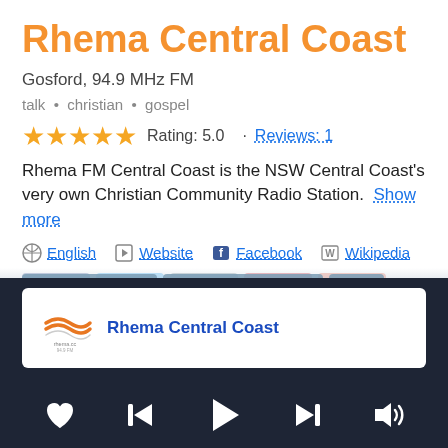Rhema Central Coast
Gosford, 94.9 MHz FM
talk • christian • gospel
Rating: 5.0 · Reviews: 1
Rhema FM Central Coast is the NSW Central Coast's very own Christian Community Radio Station. Show more
English  Website  Facebook  Wikipedia
[Figure (screenshot): Social share buttons: Facebook, Twitter, Email, Pinterest, More]
[Figure (screenshot): Player card showing Rhema Central Coast logo and name with media controls (heart, skip back, play, skip forward, volume)]